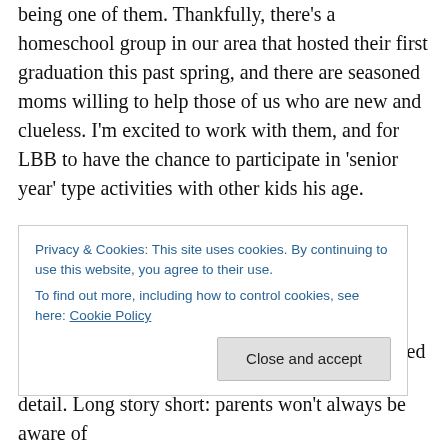being one of them. Thankfully, there's a homeschool group in our area that hosted their first graduation this past spring, and there are seasoned moms willing to help those of us who are new and clueless. I'm excited to work with them, and for LBB to have the chance to participate in 'senior year' type activities with other kids his age.
Both of the boys are in driver's ed, with plans to get their permits just as soon as I figure out the whole process. Honestly, it's so complicated; I think they do it that way to discourage teenagers from driving. But soon, they'll be legally permitted on the roads, though it will be a while
Privacy & Cookies: This site uses cookies. By continuing to use this website, you agree to their use.
To find out more, including how to control cookies, see here: Cookie Policy
detail. Long story short: parents won't always be aware of